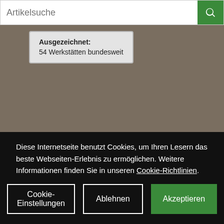Artikelsuche
[Figure (screenshot): Badge showing 'Ausgezeichnet: 54 Werkstätten bundesweit']
MEIN KONTO
Anmelden
Registrieren
Passwort vergessen
Diese Internetseite benutzt Cookies, um Ihren Lesern das beste Webseiten-Erlebnis zu ermöglichen. Weitere Informationen finden Sie in unseren Cookie-Richtlinien.
Cookie-Einstellungen | Ablehnen | Akzeptieren